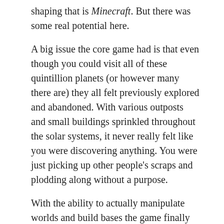shaping that is Minecraft. But there was some real potential here.
A big issue the core game had is that even though you could visit all of these quintillion planets (or however many there are) they all felt previously explored and abandoned. With various outposts and small buildings sprinkled throughout the solar systems, it never really felt like you were discovering anything. You were just picking up other people's scraps and plodding along without a purpose.
With the ability to actually manipulate worlds and build bases the game finally gave you a bit of agency in your journey beyond just buying different spaceships.
THE PATH FINDER UPDATE